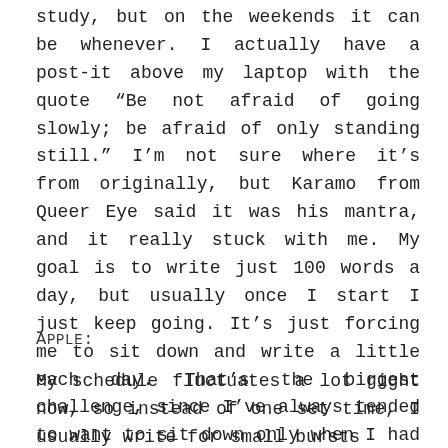study, but on the weekends it can be whenever. I actually have a post-it above my laptop with the quote “Be not afraid of going slowly; be afraid of only standing still.” I’m not sure where it’s from originally, but Karamo from Queer Eye said it was his mantra, and it really stuck with me. My goal is to write just 100 words a day, but usually once I start I just keep going. It’s just forcing me to sit down and write a little each day. That’s the biggest challenge, since I’ve always tended to want to sit down only when I had time to write thousands of words... which ended up being like never haha adulthood, am I right?
Apple:
My schedule fluctuates a lot right now, so instead of one set time, I usually write for small bursts